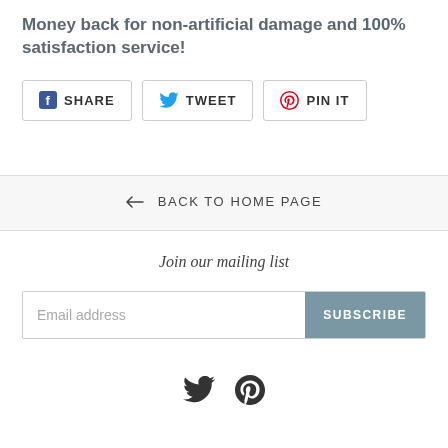Money back for non-artificial damage and 100% satisfaction service!
[Figure (infographic): Three social share buttons: Facebook SHARE, Twitter TWEET, Pinterest PIN IT]
← BACK TO HOME PAGE
Join our mailing list
[Figure (infographic): Email address input field with SUBSCRIBE button]
[Figure (infographic): Twitter and Pinterest footer icons]